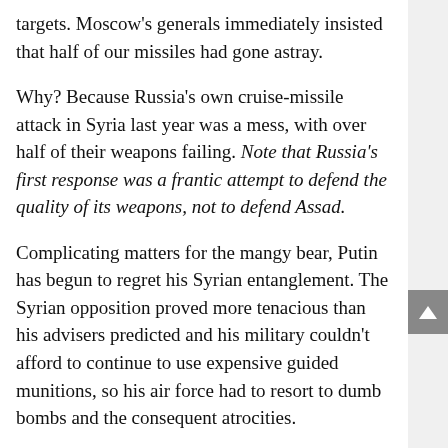targets. Moscow's generals immediately insisted that half of our missiles had gone astray.
Why? Because Russia's own cruise-missile attack in Syria last year was a mess, with over half of their weapons failing. Note that Russia's first response was a frantic attempt to defend the quality of its weapons, not to defend Assad.
Complicating matters for the mangy bear, Putin has begun to regret his Syrian entanglement. The Syrian opposition proved more tenacious than his advisers predicted and his military couldn't afford to continue to use expensive guided munitions, so his air force had to resort to dumb bombs and the consequent atrocities.
Russian casualties have been notably higher that the Kremlin admits. And there is no end in sight, even as Assad proves an ever-more-difficult ally.